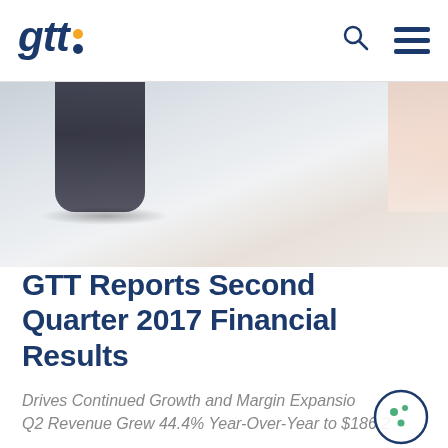GTT (logo with search and menu icons)
[Figure (photo): Hero banner image showing a blurred close-up of financial documents or a pen on paper, with dark and light tones, light grey background.]
GTT Reports Second Quarter 2017 Financial Results
Drives Continued Growth and Margin Expansion
Q2 Revenue Grew 44.4% Year-Over-Year to $186.2